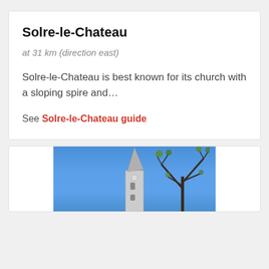Solre-le-Chateau
at 31 km (direction east)
Solre-le-Chateau is best known for its church with a sloping spire and…
See Solre-le-Chateau guide
[Figure (photo): Photo of Solre-le-Chateau church tower with a sloping spire visible against a blue sky, with bare tree branches in the foreground on the right side.]